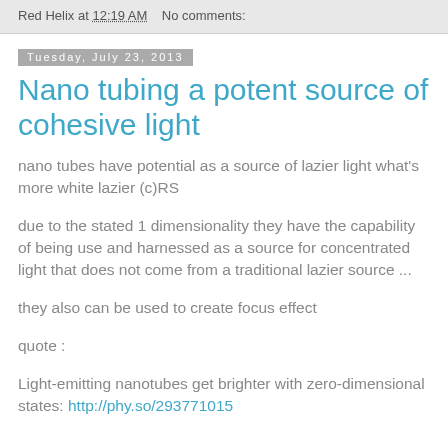Red Helix at 12:19 AM   No comments:
Tuesday, July 23, 2013
Nano tubing a potent source of cohesive light
nano tubes have potential as a source of lazier light what's more white lazier (c)RS
due to the stated 1 dimensionality they have the capability of being use and harnessed as a source for concentrated light that does not come from a traditional lazier source ...
they also can be used to create focus effect
quote :
Light-emitting nanotubes get brighter with zero-dimensional states: http://phy.so/293771015